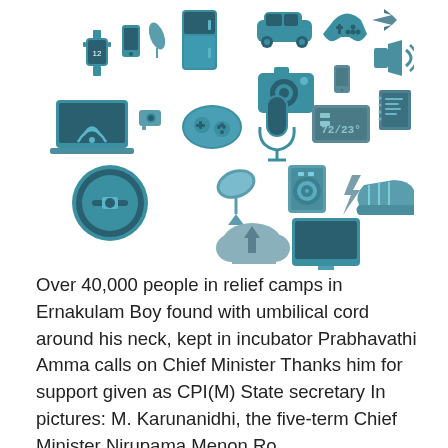[Figure (illustration): A heart-shaped collage of technology and IoT device icons in teal/blue-gray colors, including smartwatch, smartphone, refrigerator, car, game controller, drone, laptop, camera, microphone, gamepad, thermometer, speaker, satellite dish, washing machine, monitor/thermostat display, notebook, cloud storage, desktop monitor, and sneaker.]
Over 40,000 people in relief camps in Ernakulam Boy found with umbilical cord around his neck, kept in incubator Prabhavathi Amma calls on Chief Minister Thanks him for support given as CPI(M) State secretary In pictures: M. Karunanidhi, the five-term Chief Minister Nirupama Menon Ro...